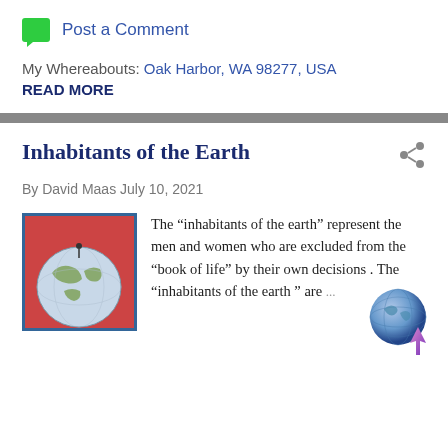Post a Comment
My Whereabouts: Oak Harbor, WA 98277, USA
READ MORE
Inhabitants of the Earth
By David Maas July 10, 2021
[Figure (photo): A globe/world ball on a surface with red background]
The “inhabitants of the earth” represent the men and women who are excluded from the “book of life” by their own decisions . The “inhabitants of the earth ” are
[Figure (illustration): A 3D globe icon with a pink/purple upward arrow, used as a website/blog logo]